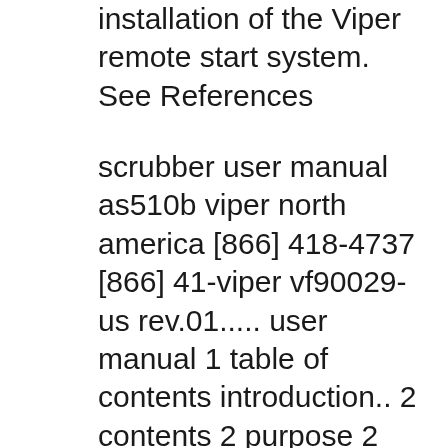installation of the Viper remote start system. See References
scrubber user manual as510b viper north america [866] 418-4737 [866] 41-viper vf90029-us rev.01..... user manual 1 table of contents introduction.. 2 contents 2 purpose 2 spare parts and maintenance 2 changes and improvements 2 machine application 2 unpacking/transport 2 safety guides 3 technical data 4 machine description.. 4 machine exploded view 5 control panel 5 charger indication First sections of this manual prior to operating this system. Warning! Failure to heed this information can result in death, personal injury or property damage and